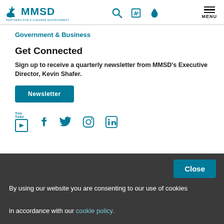[Figure (logo): MMSD logo with heron bird and text 'PARTNERS FOR A CLEANER ENVIRONMENT']
Government & Business
Get Connected
Sign up to receive a quarterly newsletter from MMSD's Executive Director, Kevin Shafer.
Newsletter
[Figure (infographic): Social media icons: YouTube, Facebook, Twitter, Instagram, LinkedIn]
Close
By using our website you are consenting to our use of cookies in accordance with our cookie policy.